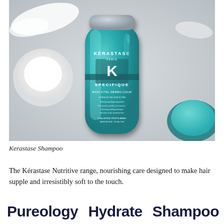[Figure (photo): A teal Kérastase Spécifique Bain Vital Dermo-Calm shampoo bottle photographed from above on a light grey surface, surrounded by white cream swirls and a teal product in a small open jar in the lower right.]
Kerastase Shampoo
The Kérastase Nutritive range, nourishing care designed to make hair supple and irresistibly soft to the touch.
Pureology   Hydrate   Shampoo